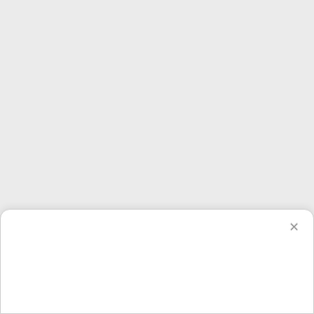Posted in:
Health
Home
[Figure (screenshot): A modal/popup overlay panel (white rounded rectangle) appearing at the bottom of the page with a close X button in the top right corner.]